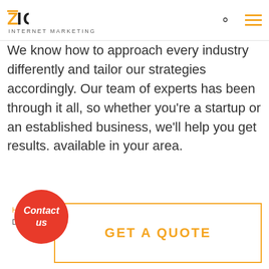ZIGMA INTERNET MARKETING
We know how to approach every industry differently and tailor our strategies accordingly. Our team of experts has been through it all, so whether you're a startup or an established business, we'll help you get results. available in your area.
Home » Industries » Internet Marketing Strategies for Fastener supplier | Digital Marketing, SEO & PPC
[Figure (illustration): Red circular button with italic text 'Contact us']
GET A QUOTE